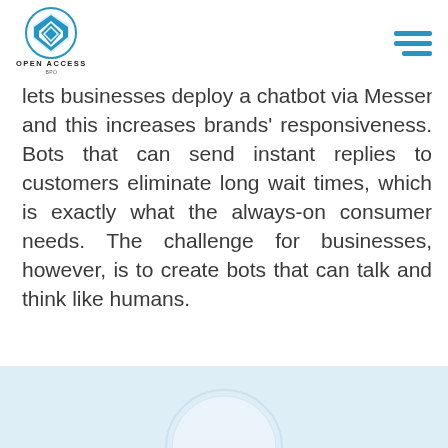OPEN ACCESS BPO
lets businesses deploy a chatbot via Messenger, and this increases brands' responsiveness. Bots that can send instant replies to customers eliminate long wait times, which is exactly what the always-on consumer needs. The challenge for businesses, however, is to create bots that can talk and think like humans.
[Figure (photo): Bottom partial image showing a light blue/white background with a partial circular graphic element visible]